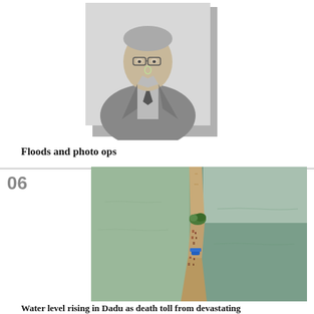[Figure (photo): Black and white portrait photograph of a middle-aged man wearing glasses, a suit jacket and tie, shown from the chest up.]
Floods and photo ops
[Figure (photo): Aerial color photograph of a narrow strip of land or levee surrounded by floodwater on both sides, with people and a blue vehicle visible on it.]
Water level rising in Dadu as death toll from devastating